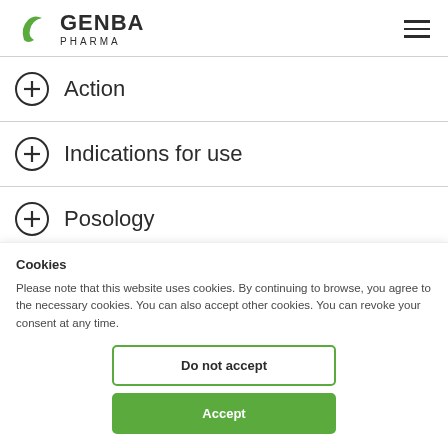GENBA PHARMA
Action
Indications for use
Posology
Interactions f…
Cookies
Please note that this website uses cookies. By continuing to browse, you agree to the necessary cookies. You can also accept other cookies. You can revoke your consent at any time.
Do not accept
Accept